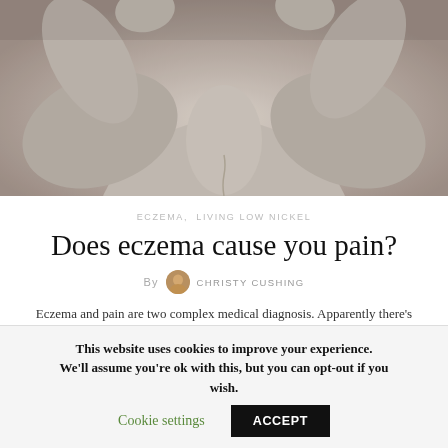[Figure (photo): Black and white close-up photo of a person's bare back with arms raised, showing skin texture]
ECZEMA,  LIVING LOW NICKEL
Does eczema cause you pain?
By CHRISTY CUSHING
Eczema and pain are two complex medical diagnosis. Apparently there's been a lot of research about the itchiness...
This website uses cookies to improve your experience. We'll assume you're ok with this, but you can opt-out if you wish. Cookie settings ACCEPT